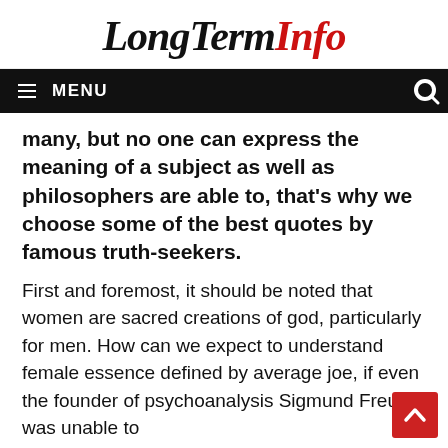LongTermInfo
MENU
many, but no one can express the meaning of a subject as well as philosophers are able to, that’s why we choose some of the best quotes by famous truth-seekers.
First and foremost, it should be noted that women are sacred creations of god, particularly for men. How can we expect to understand female essence defined by average joe, if even the founder of psychoanalysis Sigmund Freud was unable to